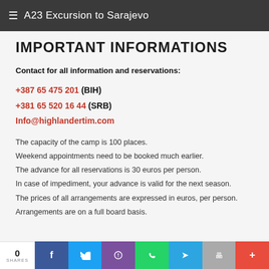A23 Excursion to Sarajevo
IMPORTANT INFORMATIONS
Contact for all information and reservations:
+387 65 475 201 (BIH)
+381 65 520 16 44 (SRB)
Info@highlandertim.com
The capacity of the camp is 100 places.
Weekend appointments need to be booked much earlier.
The advance for all reservations is 30 euros per person.
In case of impediment, your advance is valid for the next season.
The prices of all arrangements are expressed in euros, per person.
Arrangements are on a full board basis.
0 SHARES